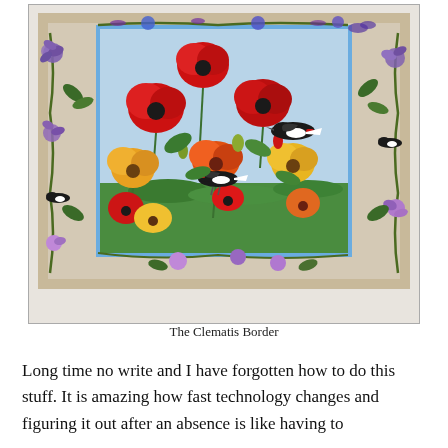[Figure (illustration): A quilt artwork titled 'The Clematis Border' showing a floral and bird scene. The center panel depicts red, orange, and yellow poppies with black-and-white birds (magpies) among green foliage against a light blue sky background. The border is decorated with climbing clematis vines with purple and white flowers, green leaves, and additional birds, all framed by a brown/tan outer border. The background of the framing area shows faint handwritten script text.]
The Clematis Border
Long time no write and I have forgotten how to do this stuff. It is amazing how fast technology changes and figuring it out after an absence is like having to